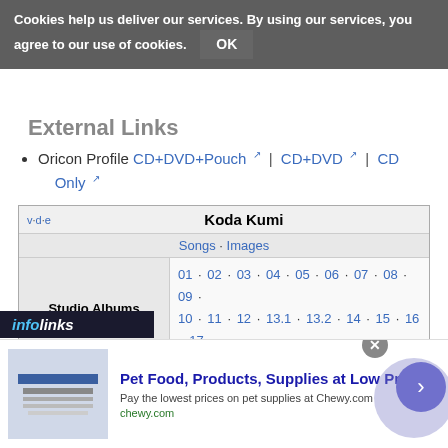Cookies help us deliver our services. By using our services, you agree to our use of cookies. OK
External Links
Oricon Profile CD+DVD+Pouch | CD+DVD | CD Only
| v·d·e | Koda Kumi |
| --- | --- |
| Songs · Images |  |
| Studio Albums | 01 · 02 · 03 · 04 · 05 · 06 · 07 · 08 · 09 · 10 · 11 · 12 · 13.1 · 13.2 · 14 · 15 · 16 · 17 |
| Best Albums | 01 · 02 · 03 · 04 · 05 · 06 · 07 · 08 · 09 · 10 · 11 · 12 |
| Remix Albums | 01 · 02 · 03 · 04 · 05 · 06 · 07 · 08 · 09 · 10 · 11 · 12 · 13 · 14 |
| Cover Albums | ETERNITY ~Love & Songs~ · Color The Cover |
[Figure (screenshot): Infolinks advertisement bar and Chewy.com pet food ad banner at bottom of page]